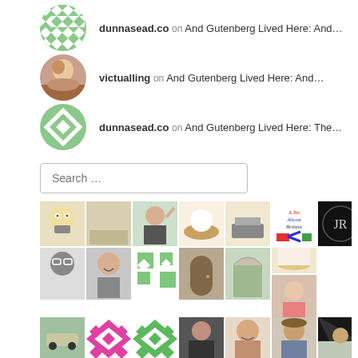dunnasead.co on And Gutenberg Lived Here: And...
victualling on And Gutenberg Lived Here: And...
dunnasead.co on And Gutenberg Lived Here: The...
Search ...
[Figure (photo): Grid of user avatar thumbnails, approximately 3 rows of 7 small square images showing various blog follower avatars including photos, illustrations, and patterned icons.]